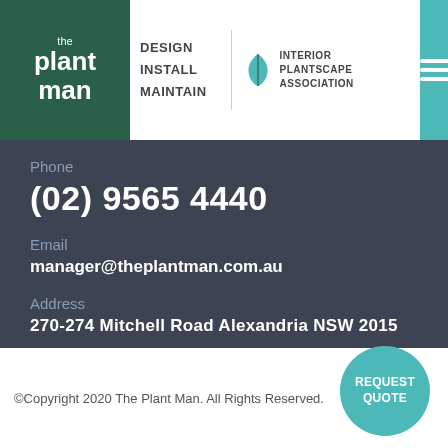[Figure (logo): The Plant Man logo with green background, text 'the plant man', design/install/maintain text, vertical divider, Interior Plantscape Association logo with leaf icon]
Phone
(02) 9565 4440
Email
manager@theplantman.com.au
Address
270-274 Mitchell Road Alexandria NSW 2015
©Copyright 2020 The Plant Man. All Rights Reserved.
REQUEST QUOTE